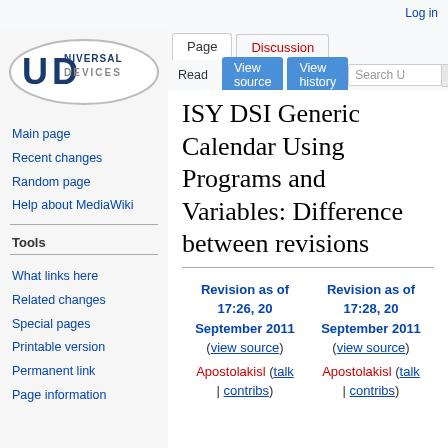Log in
[Figure (logo): Universal Devices logo: ellipse with UD letters and company name]
Main page
Recent changes
Random page
Help about MediaWiki
Tools
What links here
Related changes
Special pages
Printable version
Permanent link
Page information
ISY DSI Generic Calendar Using Programs and Variables: Difference between revisions
| Revision as of 17:26, 20 September 2011 | Revision as of 17:28, 20 September 2011 |
| --- | --- |
| (view source) | (view source) |
| Apostolakisl (talk | contribs) | Apostolakisl (talk | contribs) |